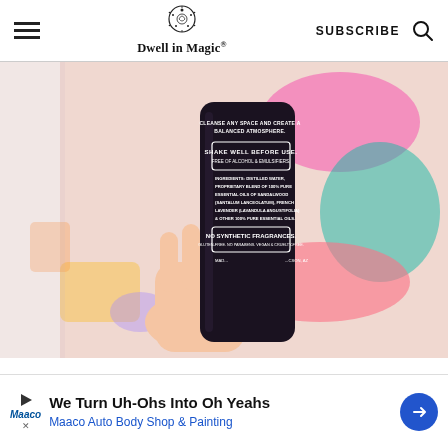Dwell in Magic®
[Figure (photo): A hand holding a dark-colored cylindrical spray bottle showing its back label. The label text reads: CLEANSE ANY SPACE AND CREATE A BALANCED ATMOSPHERE. SHAKE WELL BEFORE USE. FREE OF ALCOHOL & EMULSIFIERS. INGREDIENTS: DISTILLED WATER, PROPRIETARY BLEND OF 100% PURE ESSENTIAL OILS OF SANDALWOOD (SANTALUM LANCEOLATUM), FRENCH LAVENDER (LAVANDULA ANGUSTIFOLIA) & OTHER 100% PURE ESSENTIAL OILS. NO SYNTHETIC FRAGRANCES. GLUTEN-FREE. NO PARABENS. VEGAN & CRUELTY-FREE. MADE IN TUCSON, AZ. Background shows a colorful patterned surface.]
We Turn Uh-Ohs Into Oh Yeahs
Maaco Auto Body Shop & Painting